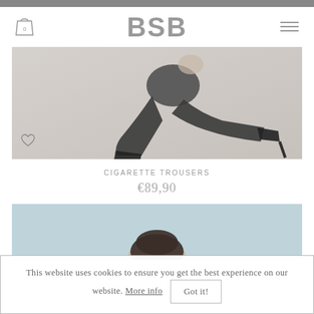BSB
[Figure (photo): Fashion product photo: woman in dark cigarette trousers and high heels, crouching pose on white background]
CIGARETTE TROUSERS
€89,90
[Figure (photo): Partial fashion product photo with light blue background, model with dark hair visible at bottom]
This website uses cookies to ensure you get the best experience on our website. More info Got it!